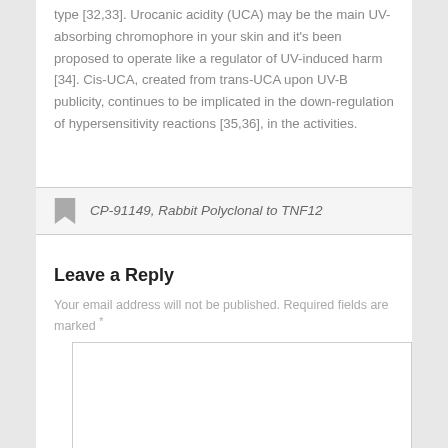type [32,33]. Urocanic acidity (UCA) may be the main UV-absorbing chromophore in your skin and it's been proposed to operate like a regulator of UV-induced harm [34]. Cis-UCA, created from trans-UCA upon UV-B publicity, continues to be implicated in the down-regulation of hypersensitivity reactions [35,36], in the activities.
CP-91149, Rabbit Polyclonal to TNF12
Leave a Reply
Your email address will not be published. Required fields are marked *